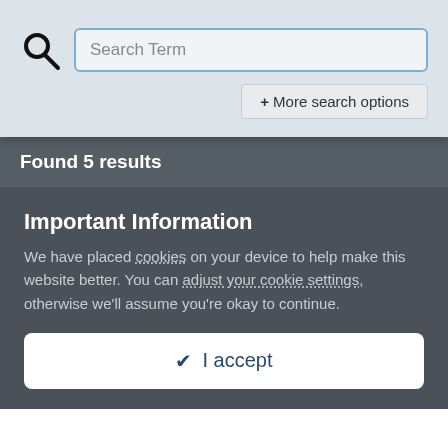[Figure (screenshot): Search input field with placeholder text 'Search Term' and a search icon on the left]
+ More search options
Found 5 results
Important Information
We have placed cookies on your device to help make this website better. You can adjust your cookie settings, otherwise we'll assume you're okay to continue.
✔ I accept